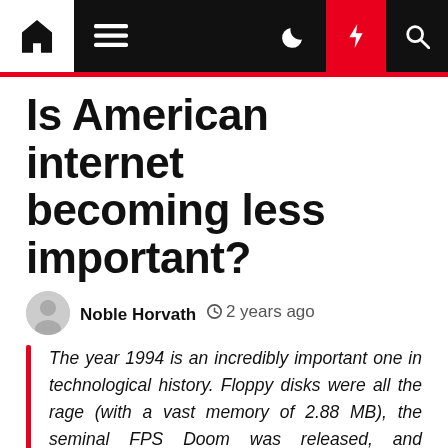Is American internet becoming less important?
Is American internet becoming less important?
Noble Horvath  2 years ago
The year 1994 is an incredibly important one in technological history. Floppy disks were all the rage (with a vast memory of 2.88 MB), the seminal FPS Doom was released, and consumer internet was unleashed upon the masses via Netscape. Well, provided you had a PC and a way to [...]
The year 1994 is an incredibly important one in